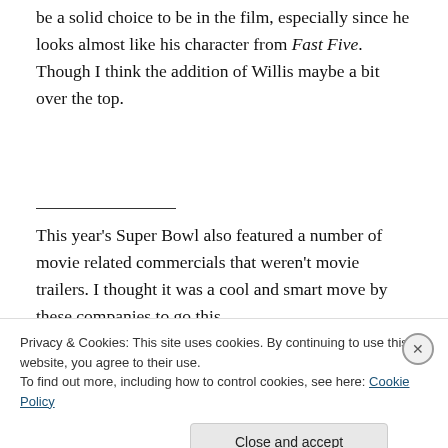be a solid choice to be in the film, especially since he looks almost like his character from Fast Five. Though I think the addition of Willis maybe a bit over the top.
This year's Super Bowl also featured a number of movie related commercials that weren't movie trailers. I thought it was a cool and smart move by these companies to go this
Privacy & Cookies: This site uses cookies. By continuing to use this website, you agree to their use.
To find out more, including how to control cookies, see here: Cookie Policy
Close and accept